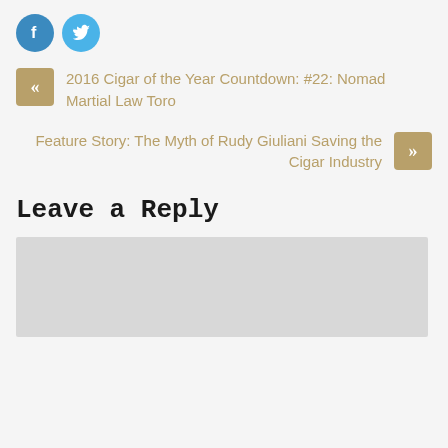[Figure (other): Social media share icons: Facebook (blue circle with f) and Twitter (blue circle with bird)]
« 2016 Cigar of the Year Countdown: #22: Nomad Martial Law Toro
Feature Story: The Myth of Rudy Giuliani Saving the Cigar Industry »
Leave a Reply
Comment text area (empty)